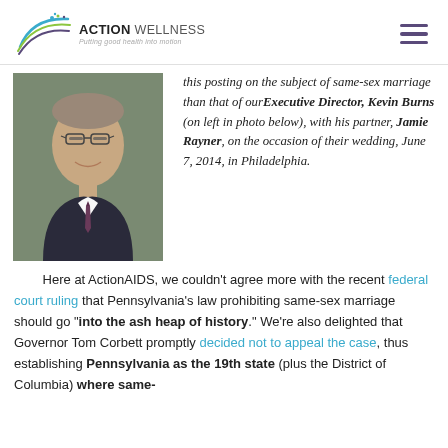ACTION WELLNESS — Putting good health into motion
[Figure (photo): Headshot of a middle-aged man with glasses wearing a dark suit and tie, smiling, with foliage in background]
this posting on the subject of same-sex marriage than that of our Executive Director, Kevin Burns (on left in photo below), with his partner, Jamie Rayner, on the occasion of their wedding, June 7, 2014, in Philadelphia.
Here at ActionAIDS, we couldn't agree more with the recent federal court ruling that Pennsylvania's law prohibiting same-sex marriage should go "into the ash heap of history." We're also delighted that Governor Tom Corbett promptly decided not to appeal the case, thus establishing Pennsylvania as the 19th state (plus the District of Columbia) where same-